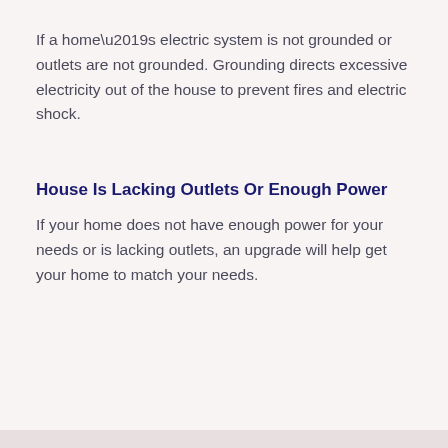If a home’s electric system is not grounded or outlets are not grounded. Grounding directs excessive electricity out of the house to prevent fires and electric shock.
House Is Lacking Outlets Or Enough Power
If your home does not have enough power for your needs or is lacking outlets, an upgrade will help get your home to match your needs.